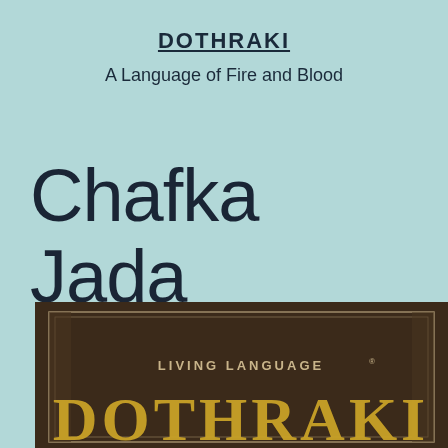DOTHRAKI
A Language of Fire and Blood
Chafka Jada
[Figure (photo): Book cover of 'Living Language Dothraki' showing a dark brown leather-textured background with a decorative border and gold lettering. The text 'LIVING LANGUAGE®' appears in tan/cream color above large gold letters spelling 'DOTHRAKI' (partially visible at bottom).]